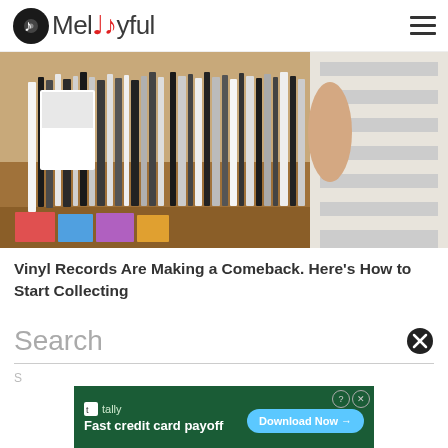Melodyful
[Figure (photo): A person browsing through vinyl records in a wooden crate at a record store, wearing a striped shirt]
Vinyl Records Are Making a Comeback. Here's How to Start Collecting
Search
[Figure (screenshot): Tally advertisement banner: Fast credit card payoff - Download Now button]